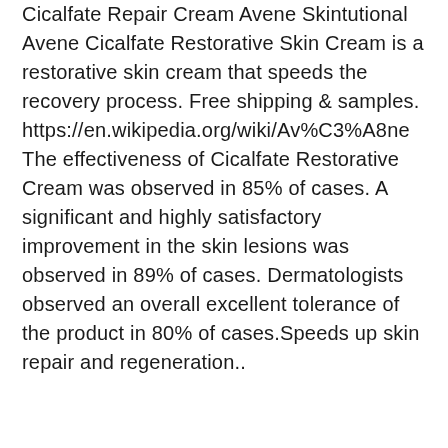Cicalfate Repair Cream Avene Skintutional Avene Cicalfate Restorative Skin Cream is a restorative skin cream that speeds the recovery process. Free shipping & samples. https://en.wikipedia.org/wiki/Av%C3%A8ne The effectiveness of Cicalfate Restorative Cream was observed in 85% of cases. A significant and highly satisfactory improvement in the skin lesions was observed in 89% of cases. Dermatologists observed an overall excellent tolerance of the product in 80% of cases.Speeds up skin repair and regeneration..